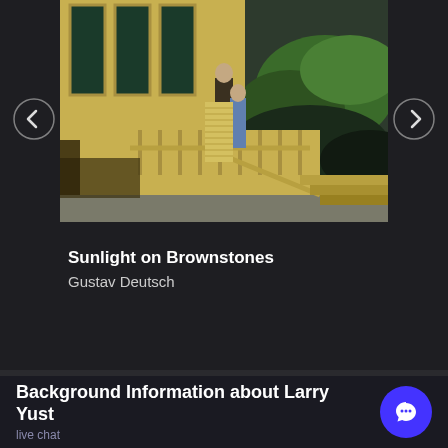[Figure (photo): A painting showing two figures on a yellow building's exterior staircase/porch with railings, a man and woman standing, dramatic dark storm clouds and green hills in the background on the right, bright yellow architecture on the left. This is a still from 'Sunlight on Brownstones' by Gustav Deutsch.]
Sunlight on Brownstones
Gustav Deutsch
Background Information about Larry Yust
live chat